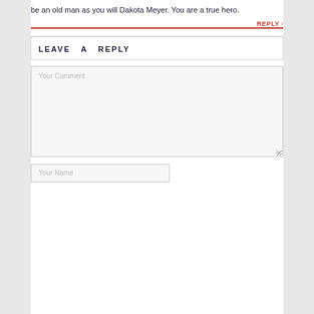be an old man as you will Dakota Meyer. You are a true hero.
REPLY
LEAVE A REPLY
Your Comment
Your Name